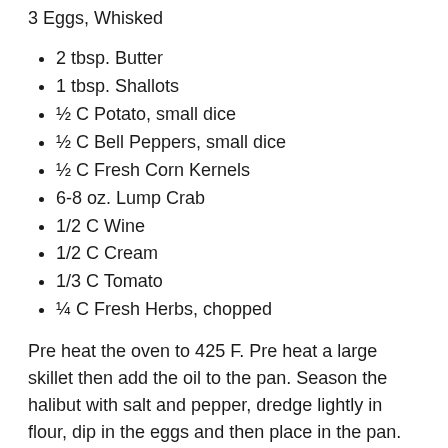3 Eggs, Whisked
2 tbsp. Butter
1 tbsp. Shallots
½ C Potato, small dice
½ C Bell Peppers, small dice
½ C Fresh Corn Kernels
6-8 oz. Lump Crab
1/2 C Wine
1/2 C Cream
1/3 C Tomato
¼ C Fresh Herbs, chopped
Pre heat the oven to 425 F. Pre heat a large skillet then add the oil to the pan. Season the halibut with salt and pepper, dredge lightly in flour, dip in the eggs and then place in the pan. Cook the fish for 3-5 minutes or until browned lightly, turn the fish and repeat. Place the fish on a baking sheet and bake for 5 minutes.
Wipe the pan clean then add the butter to the pan. Place the shallots, potato, and bell peppers in the pan and sauté for oil…